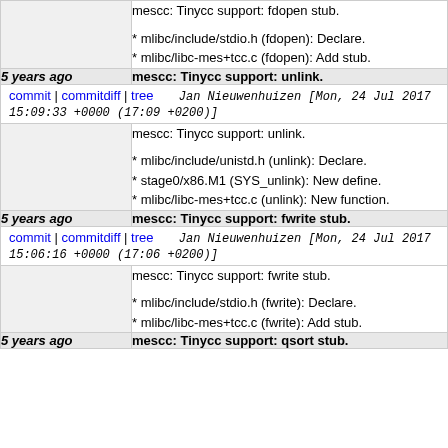mescc: Tinycc support: fdopen stub.
* mlibc/include/stdio.h (fdopen): Declare.
* mlibc/libc-mes+tcc.c (fdopen): Add stub.
| 5 years ago | mescc: Tinycc support: unlink. |
| --- | --- |
| commit | commitdiff | tree | Jan Nieuwenhuizen [Mon, 24 Jul 2017 15:09:33 +0000 (17:09 +0200)] |
|  | mescc: Tinycc support: unlink.
* mlibc/include/unistd.h (unlink): Declare.
* stage0/x86.M1 (SYS_unlink): New define.
* mlibc/libc-mes+tcc.c (unlink): New function. |
| 5 years ago | mescc: Tinycc support: fwrite stub. |
| --- | --- |
| commit | commitdiff | tree | Jan Nieuwenhuizen [Mon, 24 Jul 2017 15:06:16 +0000 (17:06 +0200)] |
|  | mescc: Tinycc support: fwrite stub.
* mlibc/include/stdio.h (fwrite): Declare.
* mlibc/libc-mes+tcc.c (fwrite): Add stub. |
5 years ago    mescc: Tinycc support: qsort stub.